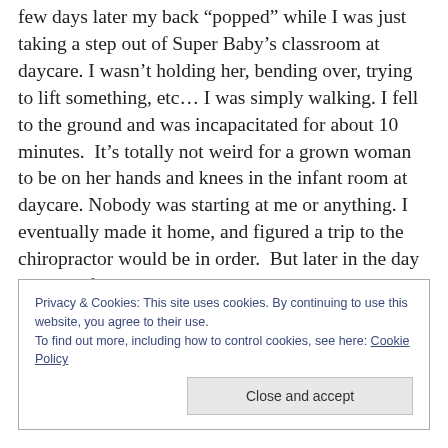few days later my back “popped” while I was just taking a step out of Super Baby’s classroom at daycare. I wasn’t holding her, bending over, trying to lift something, etc… I was simply walking. I fell to the ground and was incapacitated for about 10 minutes.  It’s totally not weird for a grown woman to be on her hands and knees in the infant room at daycare. Nobody was starting at me or anything. I eventually made it home, and figured a trip to the chiropractor would be in order.  But later in the day I got the familiar tinging/burning/numbness in the left leg and foot. I knew a trip to the Orthopedic urgent care was
Privacy & Cookies: This site uses cookies. By continuing to use this website, you agree to their use.
To find out more, including how to control cookies, see here: Cookie Policy
Close and accept